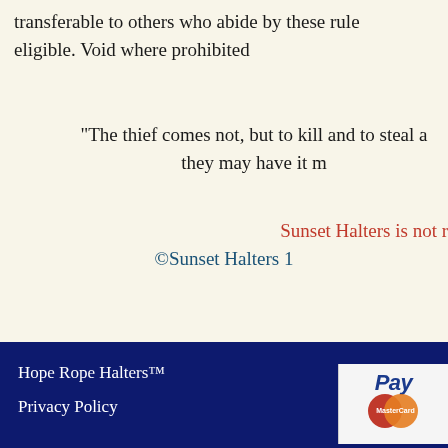transferable to others who abide by these rules and are eligible. Void where prohibited
"The thief comes not, but to kill and to steal a they may have it m
Sunset Halters is not r
©Sunset Halters 1
Hope Rope Halters™
Privacy Policy